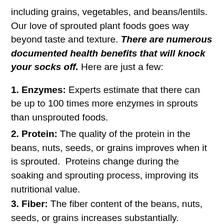including grains, vegetables, and beans/lentils. Our love of sprouted plant foods goes way beyond taste and texture. There are numerous documented health benefits that will knock your socks off. Here are just a few:
1. Enzymes: Experts estimate that there can be up to 100 times more enzymes in sprouts than unsprouted foods.
2. Protein: The quality of the protein in the beans, nuts, seeds, or grains improves when it is sprouted.  Proteins change during the soaking and sprouting process, improving its nutritional value.
3. Fiber: The fiber content of the beans, nuts, seeds, or grains increases substantially.
4. Vitamins: Vitamin content increases by up to